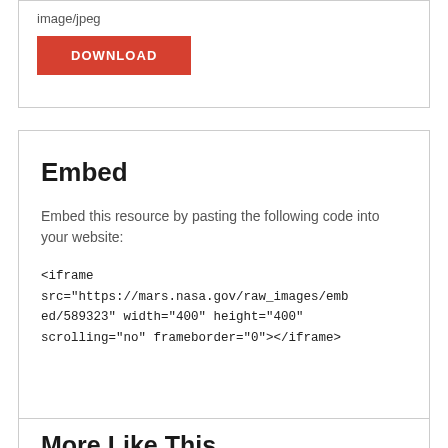image/jpeg
DOWNLOAD
Embed
Embed this resource by pasting the following code into your website:
<iframe src="https://mars.nasa.gov/raw_images/embed/589323" width="400" height="400" scrolling="no" frameborder="0"></iframe>
More Like This